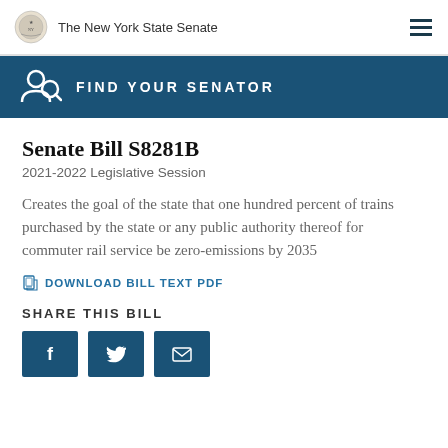The New York State Senate
[Figure (infographic): Find Your Senator banner with person/search icon on teal background]
Senate Bill S8281B
2021-2022 Legislative Session
Creates the goal of the state that one hundred percent of trains purchased by the state or any public authority thereof for commuter rail service be zero-emissions by 2035
DOWNLOAD BILL TEXT PDF
SHARE THIS BILL
[Figure (infographic): Social share buttons: Facebook, Twitter, Email]